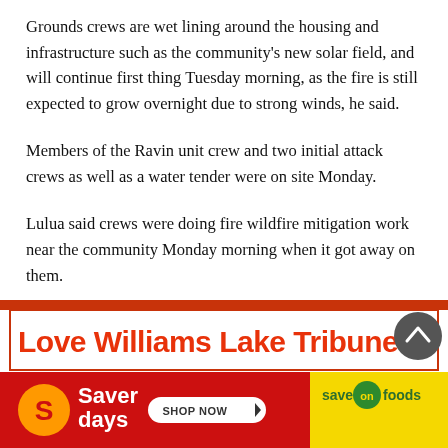Grounds crews are wet lining around the housing and infrastructure such as the community's new solar field, and will continue first thing Tuesday morning, as the fire is still expected to grow overnight due to strong winds, he said.
Members of the Ravin unit crew and two initial attack crews as well as a water tender were on site Monday.
Lulua said crews were doing fire wildfire mitigation work near the community Monday morning when it got away on them.
[Figure (other): Advertisement banner: 'Love Williams Lake Tribune?' headline in red, with a Saver Days / Save On Foods advertisement below showing red left panel with Saver Days logo and SHOP NOW button, and yellow right panel with Save On Foods logo.]